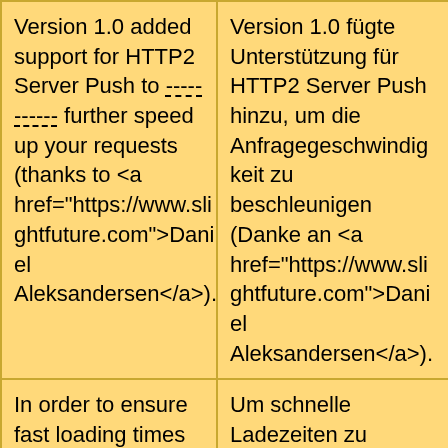| English | German | Link |
| --- | --- | --- |
| Version 1.0 added support for HTTP2 Server Push to further speed up your requests (thanks to <a href="https://www.slightfuture.com">Daniel Aleksandersen</a>). | Version 1.0 fügte Unterstützung für HTTP2 Server Push hinzu, um die Anfragegeschwindigkeit zu beschleunigen (Danke an <a href="https://www.slightfuture.com">Daniel Aleksandersen</a>). | Details |
| In order to ensure fast loading times its recommended to set long expiry dates for CSS and JS as well as make sure gzip or deflate is on. | Um schnelle Ladezeiten zu versichern empfehlen wir, lange Ablaufdaten für CSS und Javascript einzurichten, sowie | Details |